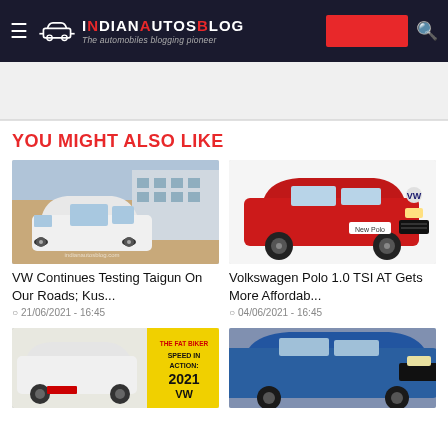IndianAutosBlog - The automobiles blogging pioneer
YOU MIGHT ALSO LIKE
[Figure (photo): White Volkswagen Taigun SUV being tested on roads, parked near a building]
VW Continues Testing Taigun On Our Roads; Kus...
21/06/2021 - 16:45
[Figure (photo): Red Volkswagen New Polo hatchback promotional image]
Volkswagen Polo 1.0 TSI AT Gets More Affordab...
04/06/2021 - 16:45
[Figure (photo): White Volkswagen Taigun with yellow banner showing Speed in Action 2021 VW]
[Figure (photo): Blue Volkswagen hatchback partial view]